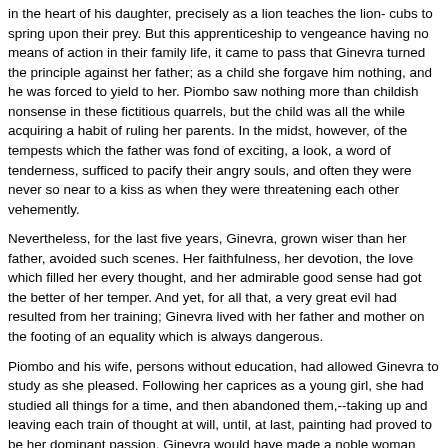in the heart of his daughter, precisely as a lion teaches the lion- cubs to spring upon their prey. But this apprenticeship to vengeance having no means of action in their family life, it came to pass that Ginevra turned the principle against her father; as a child she forgave him nothing, and he was forced to yield to her. Piombo saw nothing more than childish nonsense in these fictitious quarrels, but the child was all the while acquiring a habit of ruling her parents. In the midst, however, of the tempests which the father was fond of exciting, a look, a word of tenderness, sufficed to pacify their angry souls, and often they were never so near to a kiss as when they were threatening each other vehemently.
Nevertheless, for the last five years, Ginevra, grown wiser than her father, avoided such scenes. Her faithfulness, her devotion, the love which filled her every thought, and her admirable good sense had got the better of her temper. And yet, for all that, a very great evil had resulted from her training; Ginevra lived with her father and mother on the footing of an equality which is always dangerous.
Piombo and his wife, persons without education, had allowed Ginevra to study as she pleased. Following her caprices as a young girl, she had studied all things for a time, and then abandoned them,--taking up and leaving each train of thought at will, until, at last, painting had proved to be her dominant passion. Ginevra would have made a noble woman had her mother been capable of guiding her studies, of enlightening her mind, and bringing into harmony her gifts of nature; her defects came from the fatal education which the old Corsican had found delight in giving her.
After marching up and down the room for some time, Piombo rang the bell; a servant entered.
"